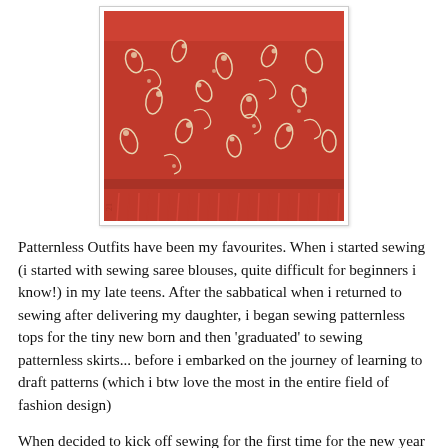[Figure (photo): A photo of a red skirt with white floral/paisley print pattern, displayed against a white background. The skirt has a fringed hem and appears to have a red border at the bottom. There is a small watermark or logo in the bottom left corner.]
Patternless Outfits have been my favourites. When i started sewing (i started with sewing saree blouses, quite difficult for beginners i know!) in my late teens. After the sabbatical when i returned to sewing after delivering my daughter, i began sewing patternless tops for the tiny new born and then 'graduated' to sewing patternless skirts... before i embarked on the journey of learning to draft patterns (which i btw love the most in the entire field of fashion design)
When decided to kick off sewing for the first time for the new year 2011, i kept thinking what to do, (i thought in between my domestic chores, remember i am back after vacation and have loads of laundry to do!) kept thinking and before i